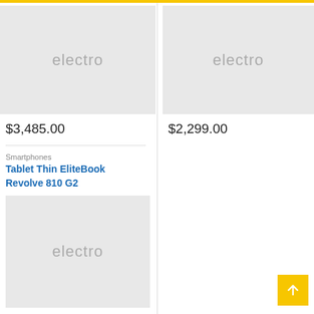[Figure (other): Product placeholder image with 'electro' text watermark, left column top]
$3,485.00
[Figure (other): Product placeholder image with 'electro' text watermark, right column top]
$2,299.00
Smartphones
Tablet Thin EliteBook Revolve 810 G2
[Figure (other): Product placeholder image with 'electro' text watermark, left column bottom]